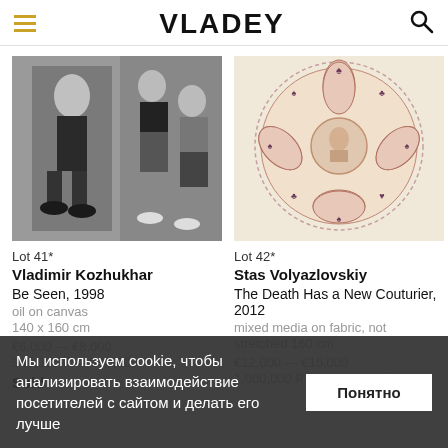VLADEY
[Figure (photo): Black and white photograph showing figures on rollerblades, two panels - a person in roller skates on left and two figures (one in bikini top and shorts, one in a t-shirt) with skates on right]
[Figure (illustration): Circular mandala-style illustration with decorative lace border, containing a central portrait surrounded by playing card suit symbols (spades, clubs, hearts), pink/purple tones on a beige background]
Lot 41*
Vladimir Kozhukhar
Be Seen, 1998
oil on canvas
140 x 160 cm
€6,000 — €8,000
340,000 ₽ — 700,000 ₽
Sold
Lot 42*
Stas Volyazlovskiy
The Death Has a New Couturier, 2012
mixed media on fabric, not stretched 160 cm
€12,000 — €15,000
1,000,000 ₽ — 1,300,000 ₽
Мы используем cookie, чтобы анализировать взаимодействие посетителей с сайтом и делать его лучше
Понятно